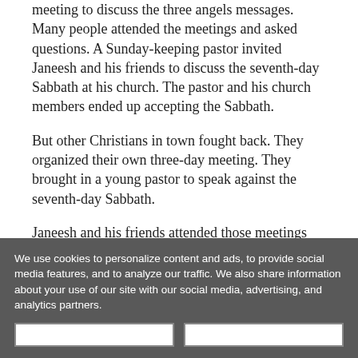meeting to discuss the three angels messages. Many people attended the meetings and asked questions. A Sunday-keeping pastor invited Janeesh and his friends to discuss the seventh-day Sabbath at his church. The pastor and his church members ended up accepting the Sabbath.
But other Christians in town fought back. They organized their own three-day meeting. They brought in a young pastor to speak against the seventh-day Sabbath.
Janeesh and his friends attended those meetings and took notes. On the last day, the preacher asked whether anyone in the
We use cookies to personalize content and ads, to provide social media features, and to analyze our traffic. We also share information about your use of our site with our social media, advertising, and analytics partners.